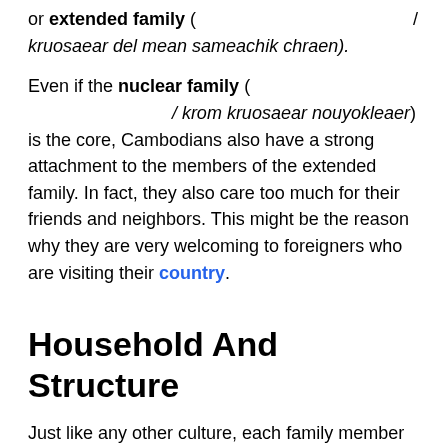or extended family ( / kruosaear del mean sameachik chraen).
Even if the nuclear family ( / krom kruosaear nouyokleaer) is the core, Cambodians also have a strong attachment to the members of the extended family. In fact, they also care too much for their friends and neighbors. This might be the reason why they are very welcoming to foreigners who are visiting their country.
Household And Structure
Just like any other culture, each family member has a significant role in the household. Cambodians respect both roles of men and women. There is also a